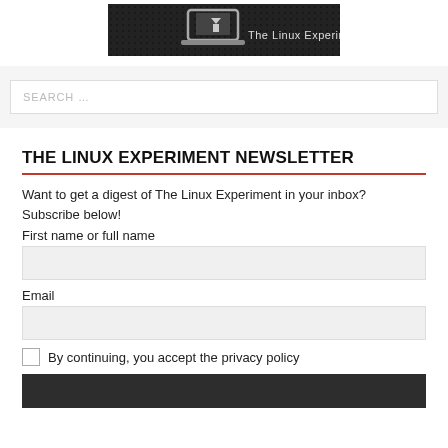[Figure (logo): The Linux Experiment logo — dark background with stylized penguin/laptop graphic and text 'The Linux Experiment']
[Figure (screenshot): Search bar with placeholder text 'SEARCH ...' on a light grey background]
THE LINUX EXPERIMENT NEWSLETTER
Want to get a digest of The Linux Experiment in your inbox? Subscribe below!
First name or full name
Email
By continuing, you accept the privacy policy